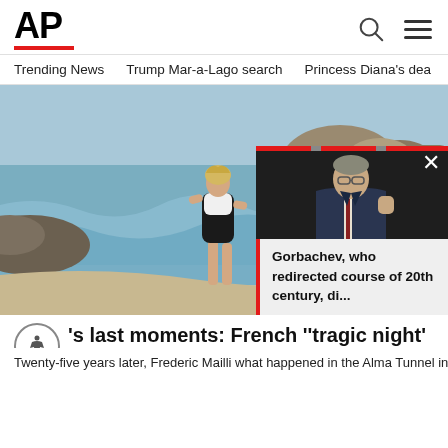AP
Trending News   Trump Mar-a-Lago search   Princess Diana's dea
[Figure (photo): Woman in black and white swimsuit walking on rocky beach with ocean waves]
's last moments: French 'tragic night'
Twenty-five years later, Frederic Mailli what happened in the Alma Tunnel in P
[Figure (photo): Man in suit speaking at podium, gesturing with fist raised — appears to be Mikhail Gorbachev]
Gorbachev, who redirected course of 20th century, di...